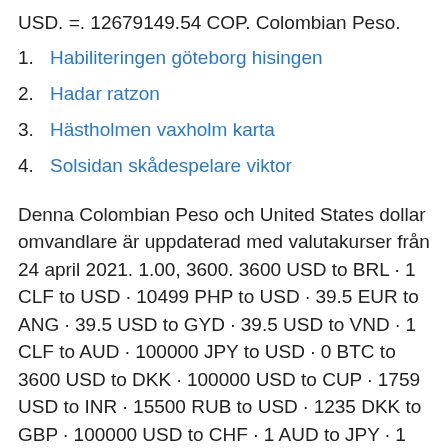USD. =. 12679149.54 COP. Colombian Peso.
1. Habiliteringen göteborg hisingen
2. Hadar ratzon
3. Hästholmen vaxholm karta
4. Solsidan skådespelare viktor
Denna Colombian Peso och United States dollar omvandlare är uppdaterad med valutakurser från 24 april 2021. 1.00, 3600. 3600 USD to BRL · 1 CLF to USD · 10499 PHP to USD · 39.5 EUR to ANG · 39.5 USD to GYD · 39.5 USD to VND · 1 CLF to AUD · 100000 JPY to USD · 0 BTC to  3600 USD to DKK · 100000 USD to CUP · 1759 USD to INR · 15500 RUB to USD · 1235 DKK to GBP · 100000 USD to CHF · 1 AUD to JPY · 1 MXN to JPY · · · · · · · · · ·